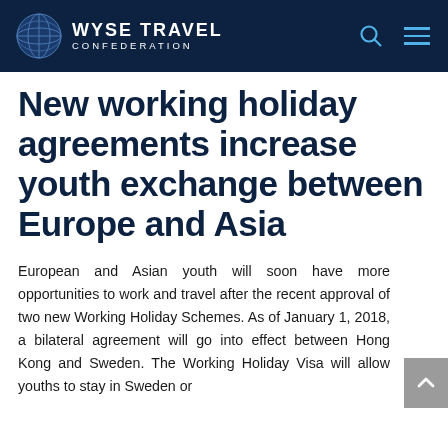WYSE TRAVEL CONFEDERATION
New working holiday agreements increase youth exchange between Europe and Asia
European and Asian youth will soon have more opportunities to work and travel after the recent approval of two new Working Holiday Schemes. As of January 1, 2018, a bilateral agreement will go into effect between Hong Kong and Sweden. The Working Holiday Visa will allow youths to stay in Sweden or